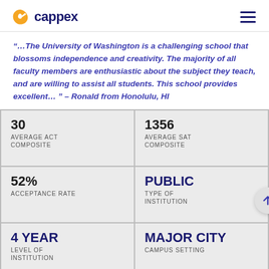cappex
“…The University of Washington is a challenging school that blossoms independence and creativity. The majority of all faculty members are enthusiastic about the subject they teach, and are willing to assist all students. This school provides excellent… ” – Ronald from Honolulu, HI
| Stat | Value |
| --- | --- |
| 30 AVERAGE ACT COMPOSITE | 1356 AVERAGE SAT COMPOSITE |
| 52% ACCEPTANCE RATE | PUBLIC TYPE OF INSTITUTION |
| 4 YEAR LEVEL OF INSTITUTION | MAJOR CITY CAMPUS SETTING |